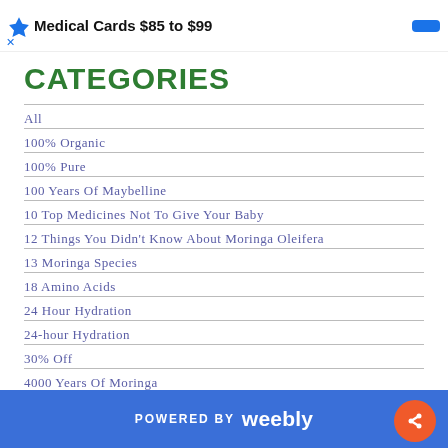Medical Cards $85 to $99
CATEGORIES
All
100% Organic
100% Pure
100 Years Of Maybelline
10 Top Medicines Not To Give Your Baby
12 Things You Didn't Know About Moringa Oleifera
13 Moringa Species
18 Amino Acids
24 Hour Hydration
24-hour Hydration
30% Off
4000 Years Of Moringa
POWERED BY weebly